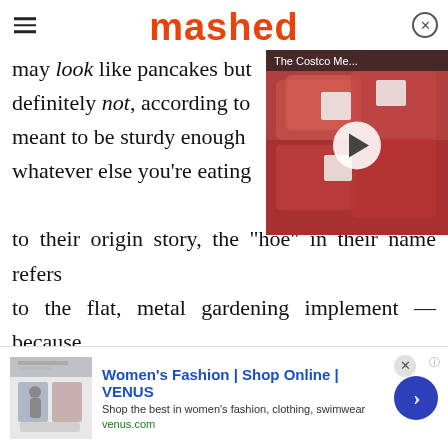mashed
may look like pancakes but definitely not, according to meant to be sturdy enough whatever else you're eating to their origin story, the "hoe" in their name refers to the flat, metal gardening implement — because they were supposedly first cooked on gardening hoes heated in the fireplace. Assuming you don't plan on using a garden hoe as a cooking implement, the next most authentic thing is a flat-
[Figure (screenshot): Video overlay thumbnail showing packaged meat at Costco, with title 'The Costco Me...' and a play button]
[Figure (screenshot): Advertisement banner for Women's Fashion | Shop Online | VENUS with thumbnail, headline, subtext, and arrow button]